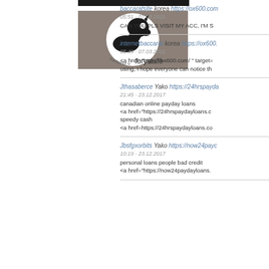[Figure (logo): Logo image for 'forystufé' — black horse silhouette on white circle against grey background]
baccaratsite korea https://ox600.com
05:51 - 07.03.2021
CAN YOU PLS VISIT MY ACC, I'M S
internetbaccarat korea https://ox600.
05:49 - 07.03.2021
<a href="https://ox600.com/ " target=
using, I hope everyone can notice th
Jthasaberce Yako https://24hrspayda
21:45 - 23.12.2017
canadian online payday loans
<a href="https://24hrspaydayloans.c
speedy cash
<a href=https://24hrspaydayloans.co
Jbsfgxorbits Yako https://now24payc
10:19 - 23.12.2017
personal loans people bad credit
<a href="https://now24paydayloans.